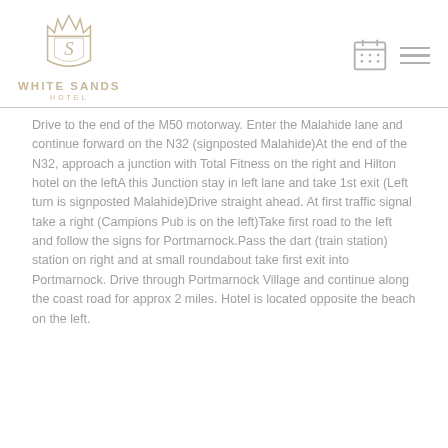[Figure (logo): White Sands Hotel logo with crown and stylized S monogram in gold/tan color, text reads WHITE SANDS HOTEL]
Drive to the end of the M50 motorway. Enter the Malahide lane and continue forward on the N32 (signposted Malahide)At the end of the N32, approach a junction with Total Fitness on the right and Hilton hotel on the leftA this Junction stay in left lane and take 1st exit (Left turn is signposted Malahide)Drive straight ahead. At first traffic signal take a right (Campions Pub is on the left)Take first road to the left and follow the signs for Portmarnock.Pass the dart (train station) station on right and at small roundabout take first exit into Portmarnock. Drive through Portmarnock Village and continue along the coast road for approx 2 miles. Hotel is located opposite the beach on the left.